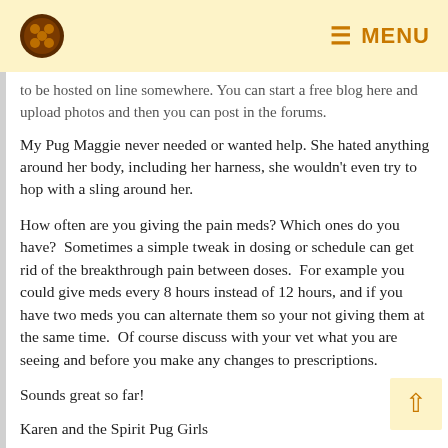MENU
to be hosted on line somewhere. You can start a free blog here and upload photos and then you can post in the forums.
My Pug Maggie never needed or wanted help. She hated anything around her body, including her harness, she wouldn't even try to hop with a sling around her.
How often are you giving the pain meds? Which ones do you have?  Sometimes a simple tweak in dosing or schedule can get rid of the breakthrough pain between doses.  For example you could give meds every 8 hours instead of 12 hours, and if you have two meds you can alternate them so your not giving them at the same time.  Of course discuss with your vet what you are seeing and before you make any changes to prescriptions.
Sounds great so far!
Karen and the Spirit Pug Girls